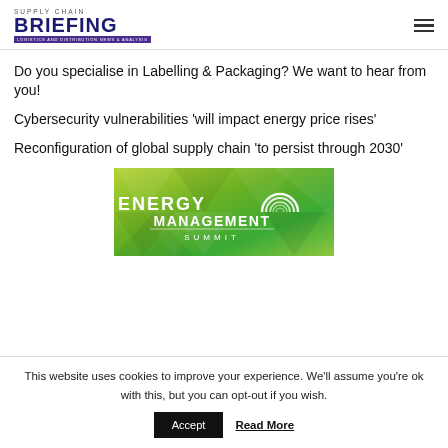SUPPLY CHAIN BRIEFING
Do you specialise in Labelling & Packaging? We want to hear from you!
Cybersecurity vulnerabilities 'will impact energy price rises'
Reconfiguration of global supply chain 'to persist through 2030'
[Figure (logo): Energy Management Summit banner with green geometric background and white text reading ENERGY MANAGEMENT SUMMIT]
This website uses cookies to improve your experience. We'll assume you're ok with this, but you can opt-out if you wish.
Accept   Read More